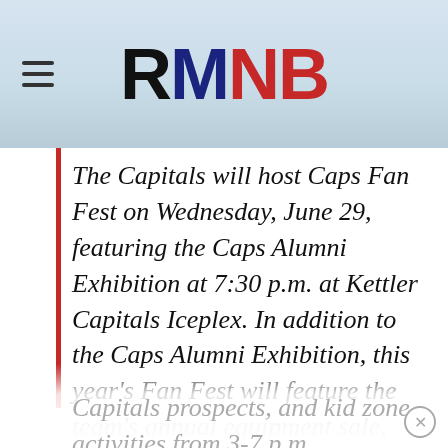RMNB
The Capitals will host Caps Fan Fest on Wednesday, June 29, featuring the Caps Alumni Exhibition at 7:30 p.m. at Kettler Capitals Iceplex. In addition to the Caps Alumni Exhibition, this year's Fan Fest will feature the team's annual equipment sale, Q&A sessions and photo opportunities with members of the Capitals coaching staff and Capitals prospects, and kid zone activities from 3-7 p.m.